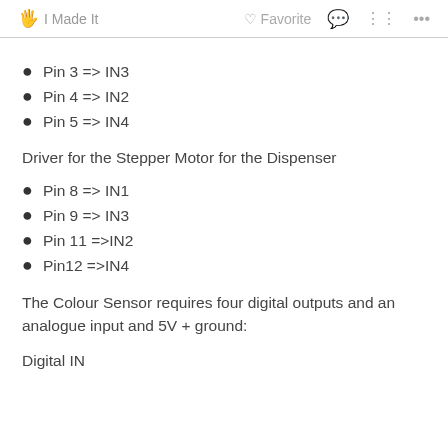I Made It   Favorite   ...
Pin 3 => IN3
Pin 4 => IN2
Pin 5 => IN4
Driver for the Stepper Motor for the Dispenser
Pin 8 => IN1
Pin 9 => IN3
Pin 11 =>IN2
Pin12 =>IN4
The Colour Sensor requires four digital outputs and an analogue input and 5V + ground:
Digital IN